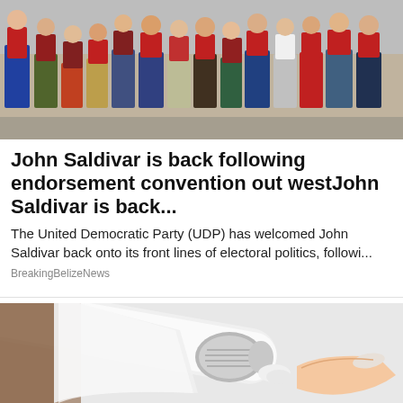[Figure (photo): Group of people standing together outdoors, many wearing red shirts and casual clothing]
John Saldivar is back following endorsement convention out westJohn Saldivar is back...
The United Democratic Party (UDP) has welcomed John Saldivar back onto its front lines of electoral politics, followi...
BreakingBelizeNews
[Figure (photo): Close-up photo of a hand holding a small tube or container, squeezing out a small amount of cream or gel onto a fingertip]